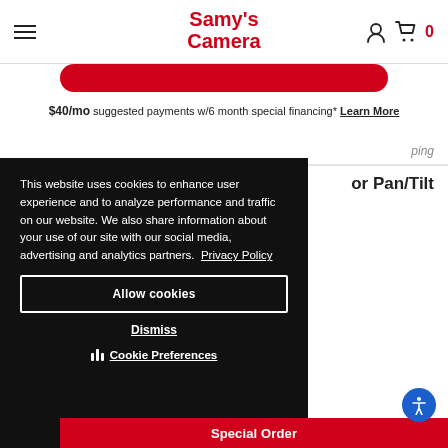Samy's Camera
$40/mo suggested payments w/6 month special financing* Learn More
ping
or Pan/Tilt
This website uses cookies to enhance user experience and to analyze performance and traffic on our website. We also share information about your use of our site with our social media, advertising and analytics partners. Privacy Policy
Allow cookies
Dismiss
Cookie Preferences
Special Order